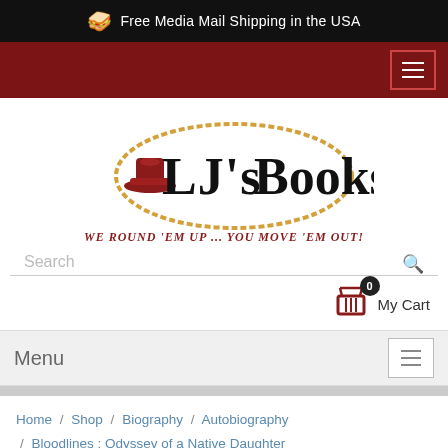Free Media Mail Shipping in the USA
[Figure (logo): LJ's Books logo with cowboy hat and rope lasso border, tagline: WE ROUND 'EM UP ... YOU MOVE 'EM OUT!]
Search
0 My Cart
Menu
Home / Shop / Biography / Autobiography / Bloodlines : Odyssey of a Native Daughter